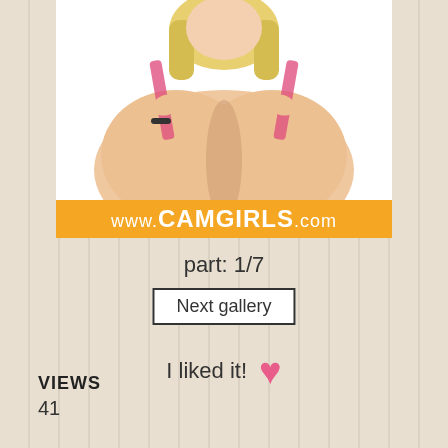[Figure (photo): Photo of a blonde woman in a pink bikini top, cropped image showing upper body. Orange banner with www.CAMGIRLS.com overlaid at bottom of image.]
part: 1/7
Next gallery
I liked it! ♥
VIEWS
41